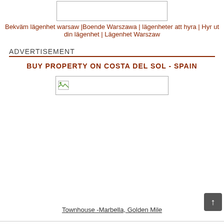[Figure (other): Broken/empty image placeholder box at top center]
Bekväm lägenhet warsaw |Boende Warszawa | lägenheter att hyra | Hyr ut din lägenhet | Lägenhet Warszaw
ADVERTISEMENT
BUY PROPERTY ON COSTA DEL SOL - SPAIN
[Figure (photo): Small broken image placeholder with image icon]
Townhouse -Marbella, Golden Mile
Accommodation in Warsaw - Warsaw Serviced Apartments Accommodation - Short term rental apartments and flats in Warsaw - Flat